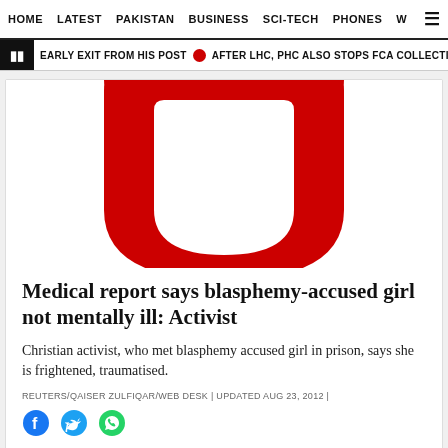HOME  LATEST  PAKISTAN  BUSINESS  SCI-TECH  PHONES  W ☰
❚  EARLY EXIT FROM HIS POST  🔴  AFTER LHC, PHC ALSO STOPS FCA COLLECTION  🔴
[Figure (logo): The Express Tribune logo — large red stylized letter T/J shape on white background]
Medical report says blasphemy-accused girl not mentally ill: Activist
Christian activist, who met blasphemy accused girl in prison, says she is frightened, traumatised.
REUTERS/QAISER ZULFIQAR/WEB DESK | UPDATED AUG 23, 2012 |